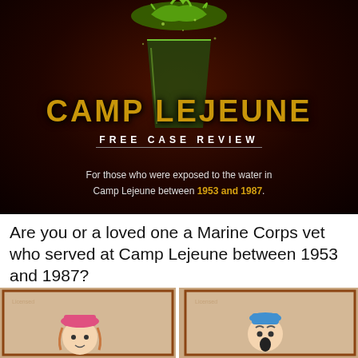[Figure (illustration): Camp Lejeune advertisement image showing a glass of green liquid with splashing water on a dark red/black background, with bold yellow text 'CAMP LEJEUNE', white text 'FREE CASE REVIEW', and text 'For those who were exposed to the water in Camp Lejeune between 1953 and 1987.' with the years highlighted in yellow.]
Are you or a loved one a Marine Corps vet who served at Camp Lejeune between 1953 and 1987?
Trulaw Attorneys
Learn More
[Figure (illustration): Bottom portion of a comic strip showing two panels with cartoon characters. Left panel has a character with a pink/red hat, right panel shows a character with a blue hat with mouth open in surprise.]